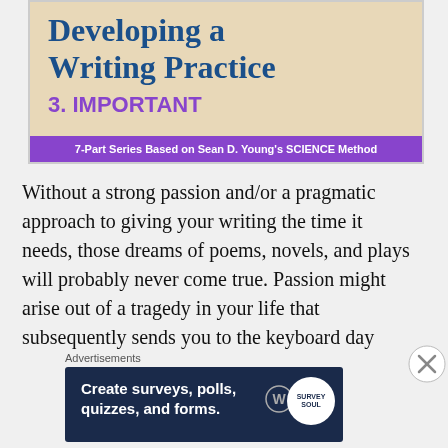[Figure (illustration): Book cover or article header image showing title 'Developing a Writing Practice', subtitle '3. IMPORTANT', and footer text '7-Part Series Based on Sean D. Young's SCIENCE Method', with purple and sandy background colors.]
Without a strong passion and/or a pragmatic approach to giving your writing the time it needs, those dreams of poems, novels, and plays will probably never come true. Passion might arise out of a tragedy in your life that subsequently sends you to the keyboard day
[Figure (screenshot): Advertisement banner: 'Create surveys, polls, quizzes, and forms.' with WordPress logo and circular Survey brand icon on dark navy background.]